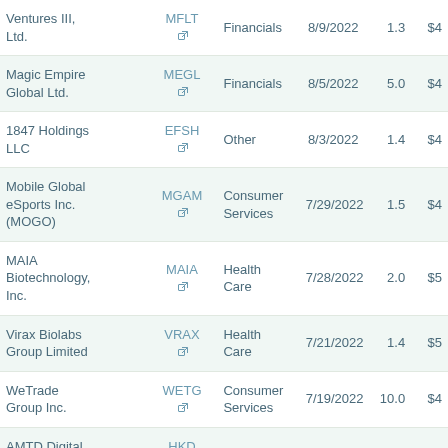| Company | Ticker | Sector | Date | Amount | Price |
| --- | --- | --- | --- | --- | --- |
| Ventures III, Ltd. | MFLT ↗ | Financials | 8/9/2022 | 1.3 | $4 |
| Magic Empire Global Ltd. | MEGL ↗ | Financials | 8/5/2022 | 5.0 | $4 |
| 1847 Holdings LLC | EFSH ↗ | Other | 8/3/2022 | 1.4 | $4 |
| Mobile Global eSports Inc. (MOGO) | MGAM ↗ | Consumer Services | 7/29/2022 | 1.5 | $4 |
| MAIA Biotechnology, Inc. | MAIA ↗ | Health Care | 7/28/2022 | 2.0 | $5 |
| Virax Biolabs Group Limited | VRAX ↗ | Health Care | 7/21/2022 | 1.4 | $5 |
| WeTrade Group Inc. | WETG ↗ | Consumer Services | 7/19/2022 | 10.0 | $4 |
| AMTD Digital, Inc. | HKD ↗ | Financials | 7/15/2022 | 16.0 | $7 |